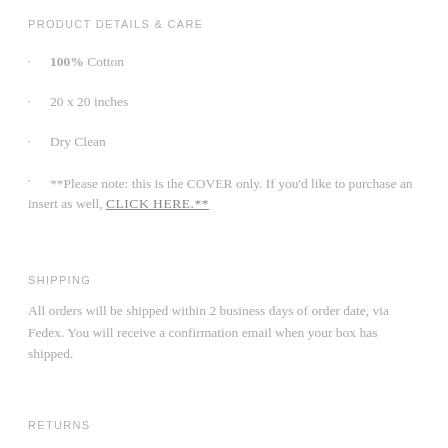PRODUCT DETAILS & CARE
100% Cotton
20 x 20 inches
Dry Clean
**Please note: this is the COVER only. If you'd like to purchase an insert as well, CLICK HERE.**
SHIPPING
All orders will be shipped within 2 business days of order date, via Fedex. You will receive a confirmation email when your box has shipped.
RETURNS